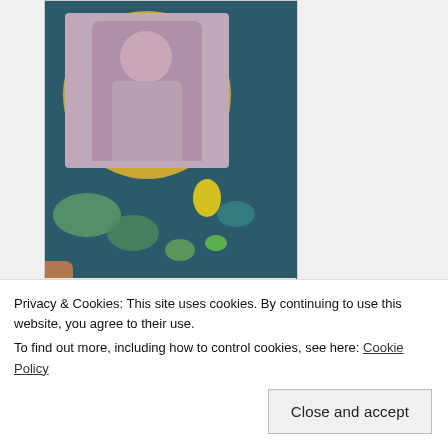[Figure (photo): Painting titled 'Theater Berlin' showing a child figure inside a golden circle on a dark teal background with green and teal oval shapes below]
Theater Berlin, acrylic on canvas, 28 x 16
[Figure (photo): Partial view of another painting with green and olive tones]
Privacy & Cookies: This site uses cookies. By continuing to use this website, you agree to their use.
To find out more, including how to control cookies, see here: Cookie Policy
Close and accept